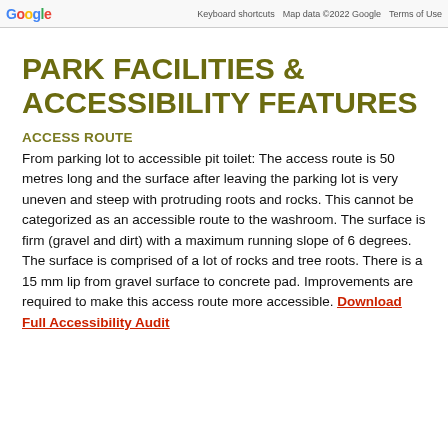Google  Keyboard shortcuts  Map data ©2022 Google  Terms of Use
PARK FACILITIES & ACCESSIBILITY FEATURES
ACCESS ROUTE
From parking lot to accessible pit toilet: The access route is 50 metres long and the surface after leaving the parking lot is very uneven and steep with protruding roots and rocks. This cannot be categorized as an accessible route to the washroom. The surface is firm (gravel and dirt) with a maximum running slope of 6 degrees. The surface is comprised of a lot of rocks and tree roots. There is a 15 mm lip from gravel surface to concrete pad. Improvements are required to make this access route more accessible. Download Full Accessibility Audit